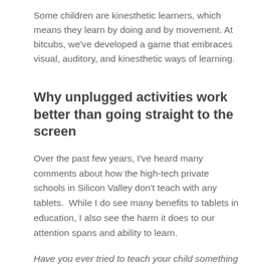Some children are kinesthetic learners, which means they learn by doing and by movement. At bitcubs, we've developed a game that embraces visual, auditory, and kinesthetic ways of learning.
Why unplugged activities work better than going straight to the screen
Over the past few years, I've heard many comments about how the high-tech private schools in Silicon Valley don't teach with any tablets.  While I do see many benefits to tablets in education, I also see the harm it does to our attention spans and ability to learn.
Have you ever tried to teach your child something on your smartphone or tablet and had your hand pushed away? And then they never learned what you were trying to teach them?